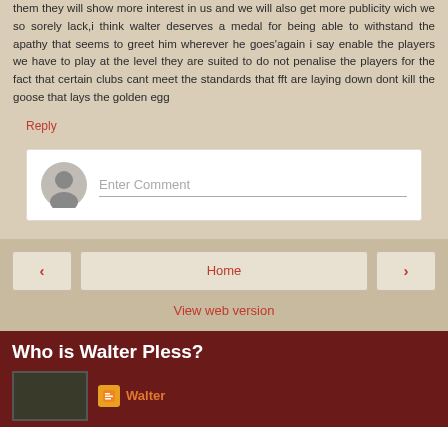them they will show more interest in us and we will also get more publicity wich we so sorely lack,i think walter deserves a medal for being able to withstand the apathy that seems to greet him wherever he goes'again i say enable the players we have to play at the level they are suited to do not penalise the players for the fact that certain clubs cant meet the standards that fft are laying down dont kill the goose that lays the golden egg
Reply
Enter Comment
Home
View web version
Who is Walter Pless?
Walter